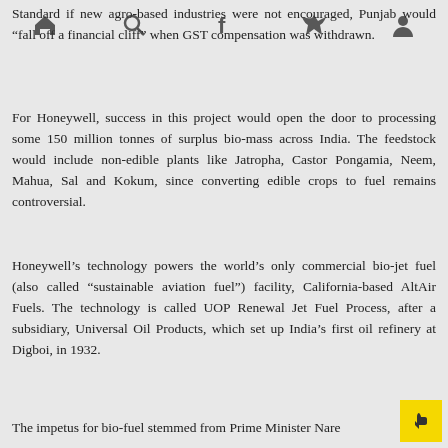Navigation bar with home, search, facebook, twitter, and user icons
Standard if new agro-based industries were not encouraged, Punjab would “fall off a financial cliff” when GST compensation was withdrawn.
For Honeywell, success in this project would open the door to processing some 150 million tonnes of surplus bio-mass across India. The feedstock would include non-edible plants like Jatropha, Castor Pongamia, Neem, Mahua, Sal and Kokum, since converting edible crops to fuel remains controversial.
Honeywell’s technology powers the world’s only commercial bio-jet fuel (also called “sustainable aviation fuel”) facility, California-based AltAir Fuels. The technology is called UOP Renewal Jet Fuel Process, after a subsidiary, Universal Oil Products, which set up India’s first oil refinery at Digboi, in 1932.
The impetus for bio-fuel stemmed from Prime Minister Nare